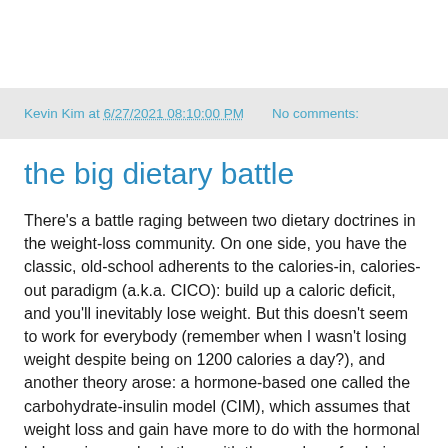Kevin Kim at 6/27/2021 08:10:00 PM   No comments:
the big dietary battle
There's a battle raging between two dietary doctrines in the weight-loss community. On one side, you have the classic, old-school adherents to the calories-in, calories-out paradigm (a.k.a. CICO): build up a caloric deficit, and you'll inevitably lose weight. But this doesn't seem to work for everybody (remember when I wasn't losing weight despite being on 1200 calories a day?), and another theory arose: a hormone-based one called the carbohydrate-insulin model (CIM), which assumes that weight loss and gain have more to do with the hormonal balance in your body than with the number of calories you take in. According to this theory, your body will adjust your basal metabolic rate if you start